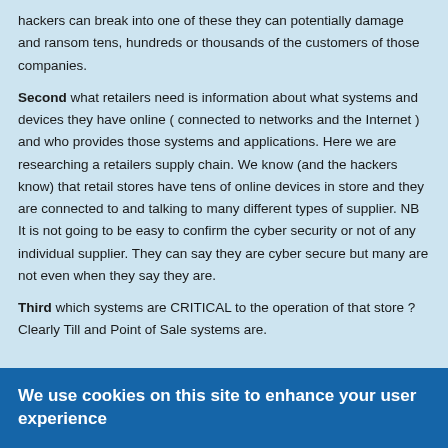hackers can break into one of these they can potentially damage and ransom tens, hundreds or thousands of the customers of those companies.
Second what retailers need is information about what systems and devices they have online ( connected to networks and the Internet ) and who provides those systems and applications. Here we are researching a retailers supply chain. We know (and the hackers know) that retail stores have tens of online devices in store and they are connected to and talking to many different types of supplier. NB It is not going to be easy to confirm the cyber security or not of any individual supplier. They can say they are cyber secure but many are not even when they say they are.
Third which systems are CRITICAL to the operation of that store ? Clearly Till and Point of Sale systems are.
We use cookies on this site to enhance your user experience